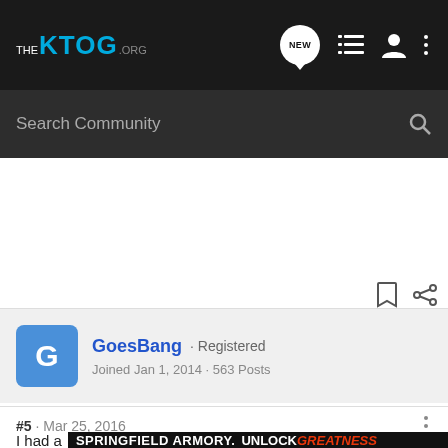THE KTOG.ORG - navigation bar with logo, NEW posts icon, list icon, user icon, menu icon
Search Community
GoesBang · Registered
Joined Jan 1, 2014 · 563 Posts
#5 · Mar 25, 2016
I had a